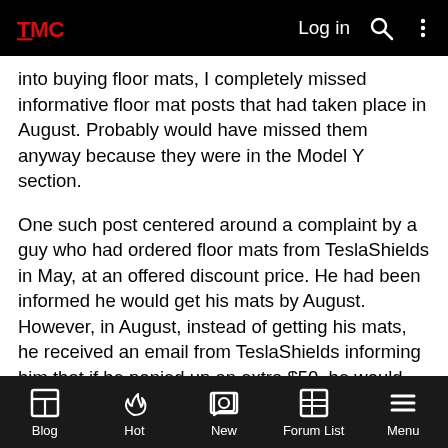TMC Logo | Log in
into buying floor mats, I completely missed informative floor mat posts that had taken place in August. Probably would have missed them anyway because they were in the Model Y section.
One such post centered around a complaint by a guy who had ordered floor mats from TeslaShields in May, at an offered discount price. He had been informed he would get his mats by August. However, in August, instead of getting his mats, he received an email from TeslaShields informing him that if he ponied up an extra $50, he would indeed get his mats in August. If he didn't pony up an extra $50, he would get the mats in September/October.
In response to this guy's posted complaint the TeslaShields co-owner, who goes by the handle “TShieldDesign” made kind of
Blog | Hot | New | Forum List | Menu